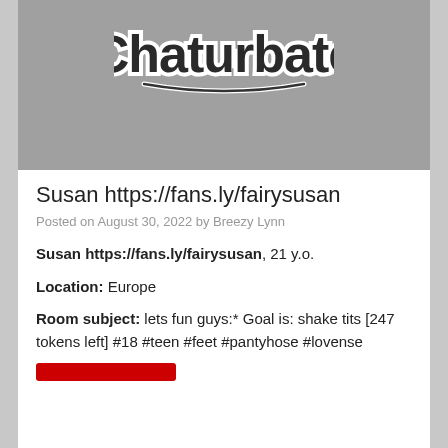[Figure (logo): Chaturbate logo on grey background]
Susan https://fans.ly/fairysusan
Posted on August 30, 2022 by Breezy Lynn
Susan https://fans.ly/fairysusan, 21 y.o.
Location: Europe
Room subject: lets fun guys:* Goal is: shake tits [247 tokens left] #18 #teen #feet #pantyhose #lovense